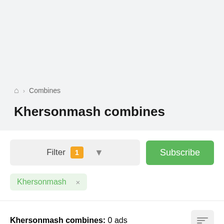Home > Combines
Khersonmash combines
Filter 1 [filter icon]
Subscribe
Khersonmash ×
Khersonmash combines: 0 ads